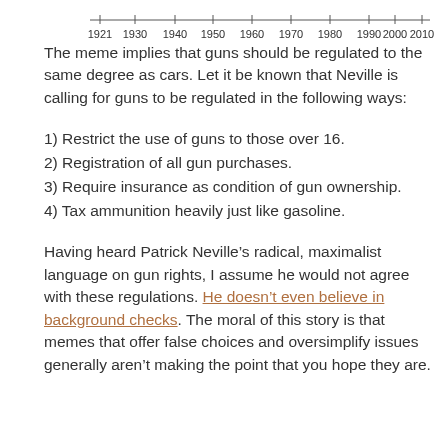[Figure (continuous-plot): Top portion of a timeline/chart showing x-axis tick marks with years: 1921, 1930, 1940, 1950, 1960, 1970, 1980, 1990, 2000, 2010]
The meme implies that guns should be regulated to the same degree as cars. Let it be known that Neville is calling for guns to be regulated in the following ways:
1) Restrict the use of guns to those over 16.
2) Registration of all gun purchases.
3) Require insurance as condition of gun ownership.
4) Tax ammunition heavily just like gasoline.
Having heard Patrick Neville’s radical, maximalist language on gun rights, I assume he would not agree with these regulations. He doesn’t even believe in background checks. The moral of this story is that memes that offer false choices and oversimplify issues generally aren’t making the point that you hope they are.